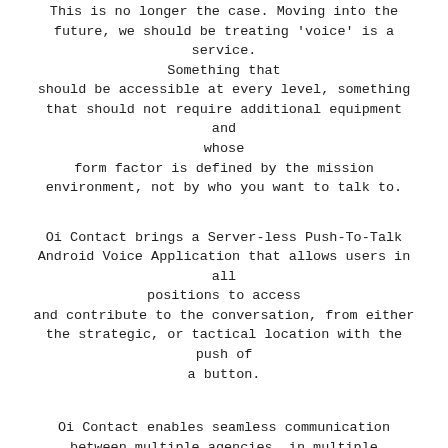This is no longer the case. Moving into the future, we should be treating 'voice' is a service. Something that should be accessible at every level, something that should not require additional equipment and whose form factor is defined by the mission environment, not by who you want to talk to.
Oi Contact brings a Server-less Push-To-Talk Android Voice Application that allows users in all positions to access and contribute to the conversation, from either the strategic, or tactical location with the push of a button.
Oi Contact enables seamless communication between multiple agencies, in multiple locations without the burden of deploying server-based solutions. Communicate simultaneously over Unicast and Multicast, or via the inbuilt SIP interface for standard telephony functions in enterprise solutions.
Inbuilt Instant Replay on each TalkGroup means that you don't miss that important transmission